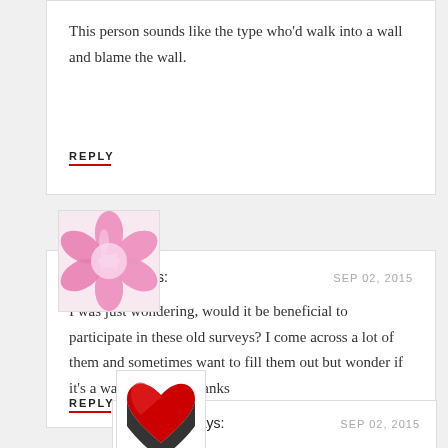This person sounds like the type who'd walk into a wall and blame the wall.
REPLY
[Figure (photo): Pink flower avatar image for user Citwpb13]
Citwpb13 says:
SEP 02, 2015
I was just wondering, would it be beneficial to participate in these old surveys? I come across a lot of them and sometimes want to fill them out but wonder if it's a waist of time. Thanks
REPLY
[Figure (illustration): Red and black heart avatar image for user Jay Dee]
Jay Dee says:
SEP 02, 2015